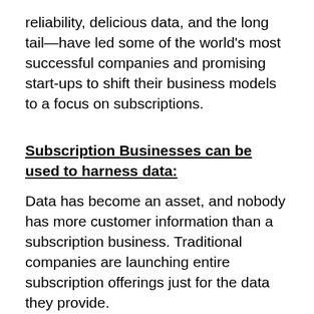reliability, delicious data, and the long tail—have led some of the world's most successful companies and promising start-ups to shift their business models to a focus on subscriptions.
Subscription Businesses can be used to harness data:
Data has become an asset, and nobody has more customer information than a subscription business. Traditional companies are launching entire subscription offerings just for the data they provide.
Walmart didn't launch Goodies Co. for the purpose of making a measly $7 a month. The world's largest retailer wanted to know which snacks resonated enough to make you want to buy the full-size version